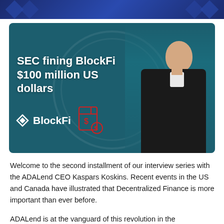[Figure (photo): Hero image with teal/dark blue SEC seal background. Text overlay reads 'SEC fining BlockFi $100 million US dollars' with BlockFi logo and a red SEC document icon. A man in a dark zip-up jacket stands on the right side of the image.]
Welcome to the second installment of our interview series with the ADALend CEO Kaspars Koskins. Recent events in the US and Canada have illustrated that Decentralized Finance is more important than ever before.
ADALend is at the vanguard of this revolution in the